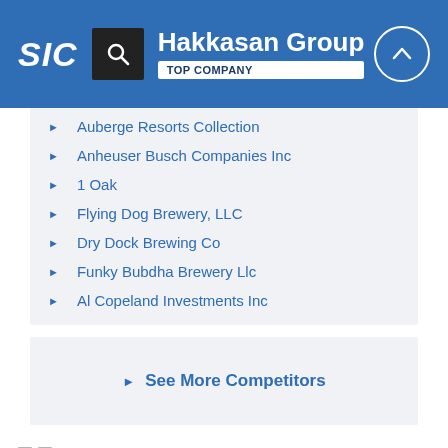SIC | Hakkasan Group | TOP COMPANY
Auberge Resorts Collection
Anheuser Busch Companies Inc
1 Oak
Flying Dog Brewery, LLC
Dry Dock Brewing Co
Funky Bubdha Brewery Llc
Al Copeland Investments Inc
See More Competitors
Related Classifications
ISIC CODES (INTERNATIONAL)